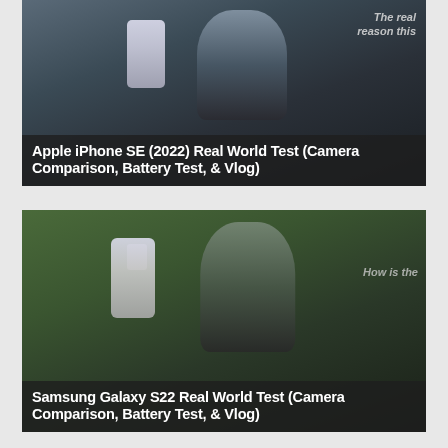[Figure (photo): Video thumbnail for Apple iPhone SE (2022) Real World Test showing a man holding up a white iPhone SE outdoors with overlay text 'The real reason this' in top right and bold title 'Apple iPhone SE (2022) Real World Test (Camera Comparison, Battery Test, & Vlog)' in dark band at bottom]
[Figure (photo): Video thumbnail for Samsung Galaxy S22 Real World Test showing a man holding up a white Samsung Galaxy S22 outdoors with overlay text 'How is the' in top right and bold title 'Samsung Galaxy S22 Real World Test (Camera Comparison, Battery Test, & Vlog)' in dark band at bottom]